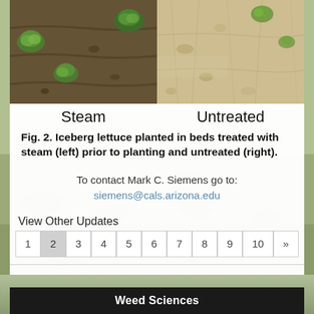[Figure (photo): Two side-by-side aerial/overhead photos of iceberg lettuce planted in field beds. Left photo shows lettuce in steam-treated soil (dark moist soil with green lettuce plants). Right photo shows lettuce in untreated soil (dry lighter-colored soil with sparse plants).]
Steam	Untreated
Fig. 2. Iceberg lettuce planted in beds treated with steam (left) prior to planting and untreated (right).
To contact Mark C. Siemens go to:
siemens@cals.arizona.edu
View Other Updates
1  2  3  4  5  6  7  8  9  10  »
Back to Top
Weed Sciences